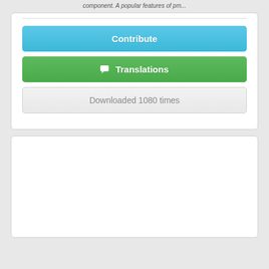component. A popular features of pm...
[Figure (screenshot): UI card with three buttons: a blue Contribute button, a green Translations button with chat icon, and a gray Downloaded 1080 times button]
Contribute
Translations
Downloaded 1080 times
[Figure (screenshot): Empty white card panel below the buttons card]